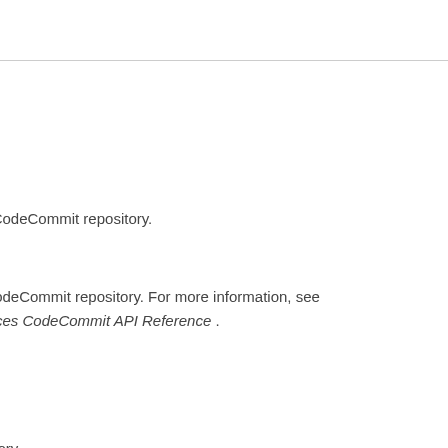ervices CodeCommit repository.
rvices CodeCommit repository. For more information, see eb Services CodeCommit API Reference .
ory.
e repository.